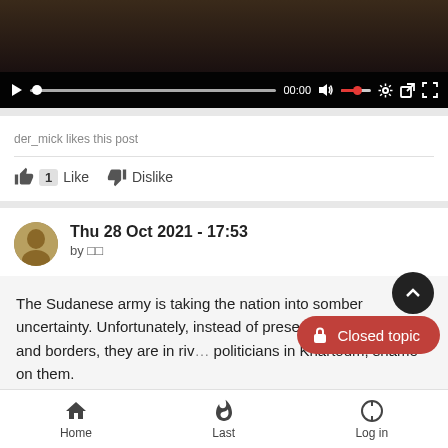[Figure (screenshot): Video player with dark background, playback controls showing 00:00 timestamp, volume slider in red, settings gear, and fullscreen icons]
der_mick likes this post
👍 1  Like   👎  Dislike
Thu 28 Oct 2021 - 17:53
by □□
The Sudanese army is taking the nation into somber uncertainty. Unfortunately, instead of preserving security, integrity and borders, they are in rivalry politicians in Khartoum, shame on them.
Home   Last   Log in